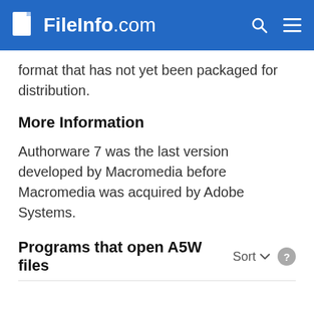FileInfo.com
format that has not yet been packaged for distribution.
More Information
Authorware 7 was the last version developed by Macromedia before Macromedia was acquired by Adobe Systems.
Programs that open A5W files
Windows